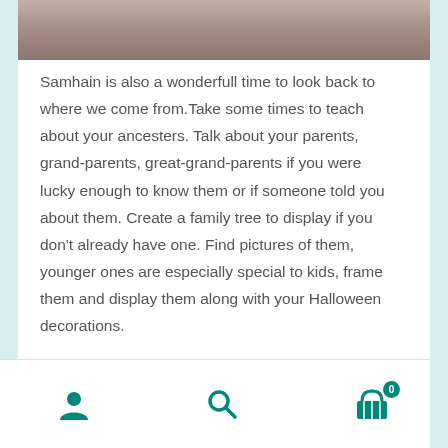[Figure (photo): Partial photo strip at the top of the page showing a blurred brownish/tan surface, cropped at the top.]
Samhain is also a wonderfull time to look back to where we come from.Take some times to teach about your ancesters. Talk about your parents, grand-parents, great-grand-parents if you were lucky enough to know them or if someone told you about them. Create a family tree to display if you don't already have one. Find pictures of them, younger ones are especially special to kids, frame them and display them along with your Halloween decorations.
Navigation bar with user icon, search icon, and cart icon with badge showing 0